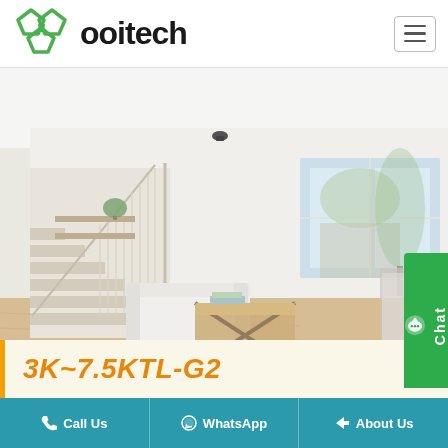[Figure (logo): ooitech logo with green interlocking chain/diamonds icon and bold black text]
[Figure (photo): Modern bright white living room interior with staircase, sofa, coffee table, window with outdoor view, blurred product device on right side, yellow banner strip at bottom]
3K~7.5KTl-G2
Call Us
WhatsApp
About Us